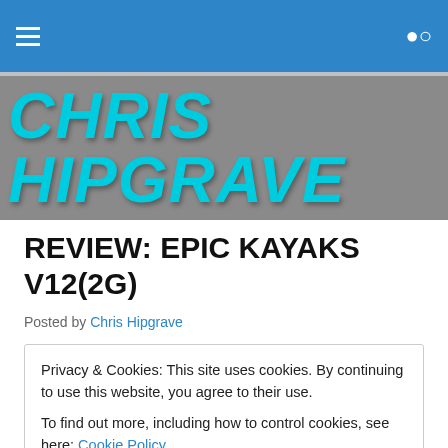CHRIS HIPGRAVE
REVIEW: EPIC KAYAKS V12(2G)
Posted by Chris Hipgrave
Privacy & Cookies: This site uses cookies. By continuing to use this website, you agree to their use.
To find out more, including how to control cookies, see here: Cookie Policy
Close and accept
cross that imaginary line of stability verses ability in the